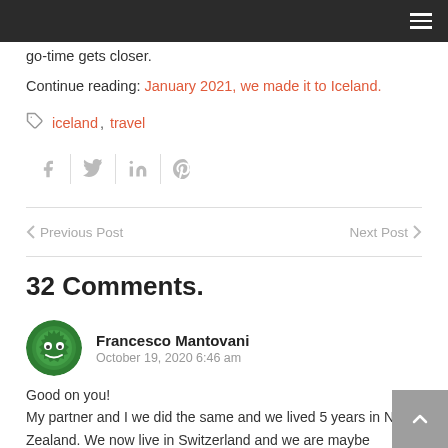go-time gets closer.
Continue reading: January 2021, we made it to Iceland.
iceland, travel
[Figure (other): Social share icons: Facebook, Twitter, LinkedIn, Pinterest]
< Previous Post   Next Post >
32 Comments.
[Figure (illustration): Green avatar icon with gear/robot face]
Francesco Mantovani
October 19, 2020 6:46 am
Good on you!
My partner and I we did the same and we lived 5 years in New Zealand. We now live in Switzerland and we are maybe planning